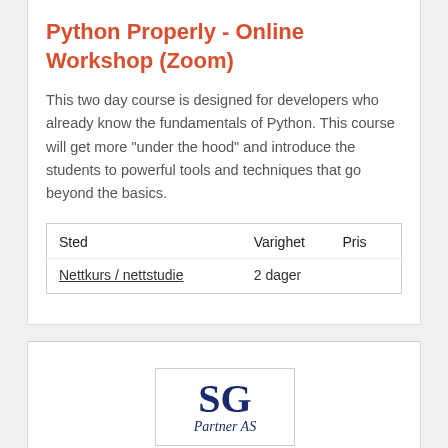Python Properly - Online Workshop (Zoom)
This two day course is designed for developers who already know the fundamentals of Python. This course will get more "under the hood" and introduce the students to powerful tools and techniques that go beyond the basics.
| Sted | Varighet | Pris |
| --- | --- | --- |
| Nettkurs / nettstudie | 2 dager |  |
[Figure (logo): SG Partner AS logo - large bold letters SG in dark navy blue with 'Partner AS' in italic script beneath, inside a bordered box]